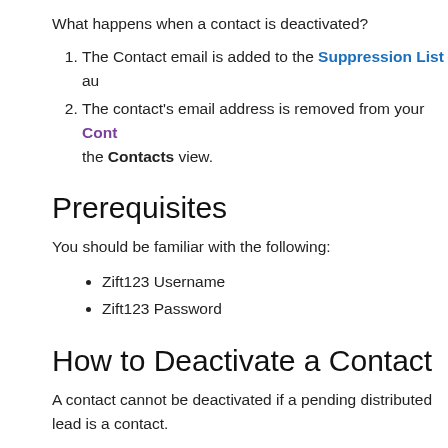What happens when a contact is deactivated?
The Contact email is added to the Suppression List au...
The contact's email address is removed from your Cont... the Contacts view.
Prerequisites
You should be familiar with the following:
Zift123 Username
Zift123 Password
How to Deactivate a Contact
A contact cannot be deactivated if a pending distributed lead is a... contact.
From Contacts > select a linked contact name.
[Figure (screenshot): Screenshot of Zift123 navigation bar showing menu items: Campaign, Get Bizzy, Social Media, Cohorts, Archive, Contacts (active/highlighted in purple)]